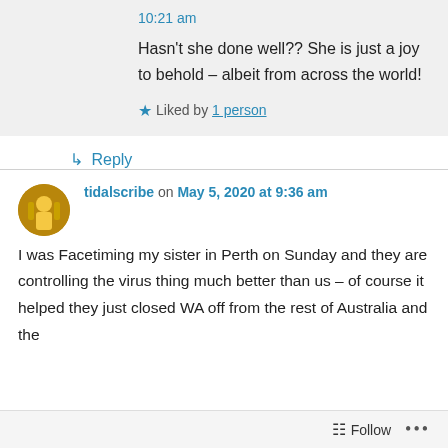10:21 am
Hasn't she done well?? She is just a joy to behold – albeit from across the world!
Liked by 1 person
Reply
tidalscribe on May 5, 2020 at 9:36 am
I was Facetiming my sister in Perth on Sunday and they are controlling the virus thing much better than us – of course it helped they just closed WA off from the rest of Australia and the